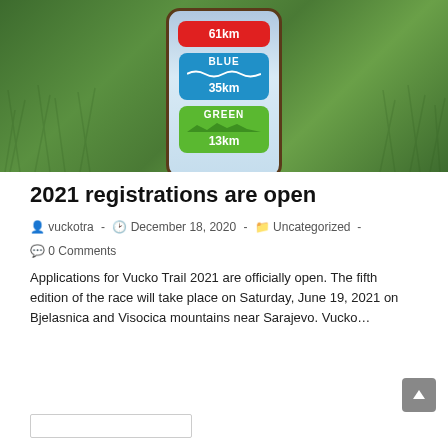[Figure (photo): A smartphone lying on grass showing a trail running app with three route badges: RED 61km, BLUE 35km, GREEN 13km]
2021 registrations are open
vuckotra · December 18, 2020 · Uncategorized · 0 Comments
Applications for Vucko Trail 2021 are officially open. The fifth edition of the race will take place on Saturday, June 19, 2021 on Bjelasnica and Visocica mountains near Sarajevo. Vucko…